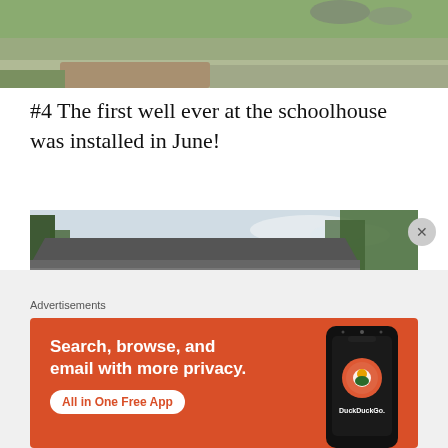[Figure (photo): Partial photo of a grassy outdoor area with a road or path, rocks visible in the background, cropped at the top of the page.]
#4 The first well ever at the schoolhouse was installed in June!
[Figure (photo): Old stone/brick schoolhouse building with grey weathered wood siding, a boarded-up window, several windows, dark shingle roof, and trees in the background. Cloudy sky.]
Advertisements
[Figure (infographic): DuckDuckGo advertisement banner (orange/red background) with text: 'Search, browse, and email with more privacy. All in One Free App' and an image of a smartphone showing the DuckDuckGo app.]